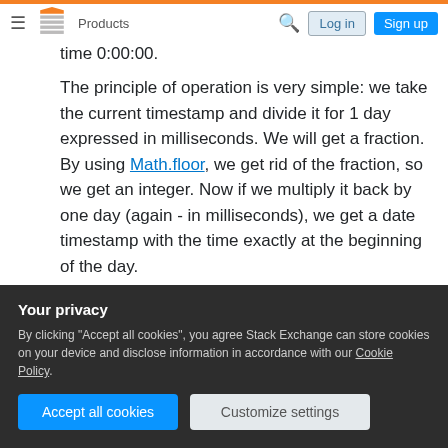≡  Stack Overflow  Products  🔍  Log in  Sign up
time 0:00:00.
The principle of operation is very simple: we take the current timestamp and divide it for 1 day expressed in milliseconds. We will get a fraction. By using Math.floor, we get rid of the fraction, so we get an integer. Now if we multiply it back by one day (again - in milliseconds), we get a date timestamp with the time exactly at the beginning of the day.
> now = Date.now()
1588837459929
Your privacy
By clicking "Accept all cookies", you agree Stack Exchange can store cookies on your device and disclose information in accordance with our Cookie Policy.
Accept all cookies  Customize settings